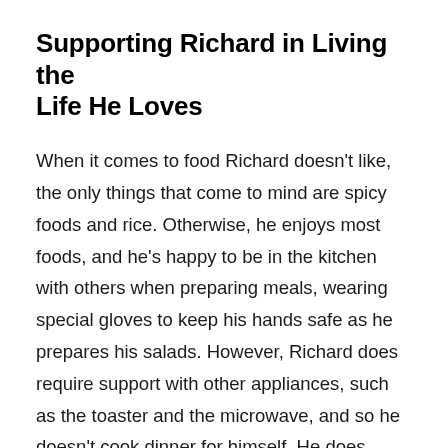Supporting Richard in Living the Life He Loves
When it comes to food Richard doesn't like, the only things that come to mind are spicy foods and rice. Otherwise, he enjoys most foods, and he's happy to be in the kitchen with others when preparing meals, wearing special gloves to keep his hands safe as he prepares his salads. However, Richard does require support with other appliances, such as the toaster and the microwave, and so he doesn't cook dinner for himself. He does enjoy putting together his own smaller meals, like breakfast, and enjoys making his own schedule to fill his days.